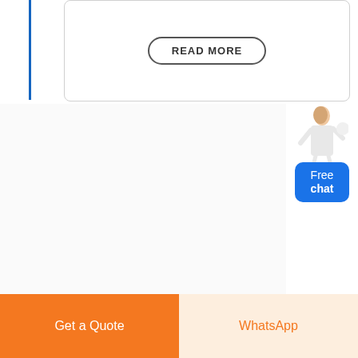[Figure (screenshot): READ MORE button with rounded border inside a card area with a blue vertical bar on the left]
[Figure (illustration): Free chat widget showing a woman figure with a blue rounded button saying Free chat]
[Figure (other): Main content area, mostly blank/white]
Get a Quote
WhatsApp